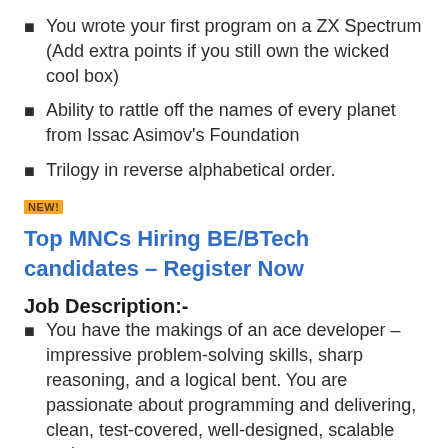You wrote your first program on a ZX Spectrum (Add extra points if you still own the wicked cool box)
Ability to rattle off the names of every planet from Issac Asimov's Foundation
Trilogy in reverse alphabetical order.
NEW!
Top MNCs Hiring BE/BTech candidates – Register Now
Job Description:-
You have the makings of an ace developer – impressive problem-solving skills, sharp reasoning, and a logical bent. You are passionate about programming and delivering, clean, test-covered, well-designed, scalable code